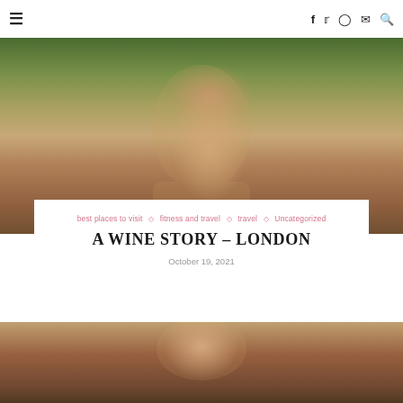≡  f  🐦  📷  ✉  🔍
[Figure (photo): Young woman with long brown highlighted hair and green eyes, wearing natural makeup, holding a glass of wine or champagne, seated outdoors with green foliage in background]
best places to visit ◇ fitness and travel ◇ travel ◇ Uncategorized
A WINE STORY – LONDON
October 19, 2021
[Figure (photo): Partial view of a woman's face, cropped selfie, brown eyes, dark eyebrows, with a mirror or frame in background]